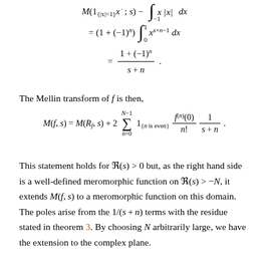The Mellin transform of f is then,
This statement holds for ℜ(s) > 0 but, as the right hand side is a well-defined meromorphic function on ℜ(s) > −N, it extends M(f, s) to a meromorphic function on this domain. The poles arise from the 1/(s + n) terms with the residue stated in theorem 3. By choosing N arbitrarily large, we have the extension to the complex plane.